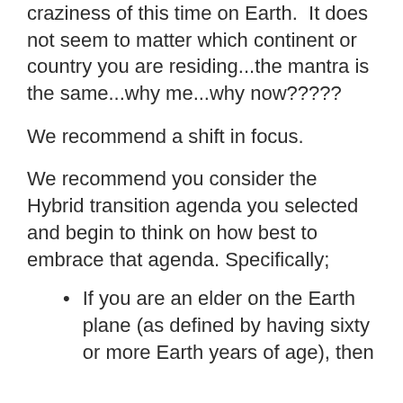craziness of this time on Earth.  It does not seem to matter which continent or country you are residing...the mantra is the same...why me...why now?????
We recommend a shift in focus.
We recommend you consider the Hybrid transition agenda you selected and begin to think on how best to embrace that agenda. Specifically;
If you are an elder on the Earth plane (as defined by having sixty or more Earth years of age), then